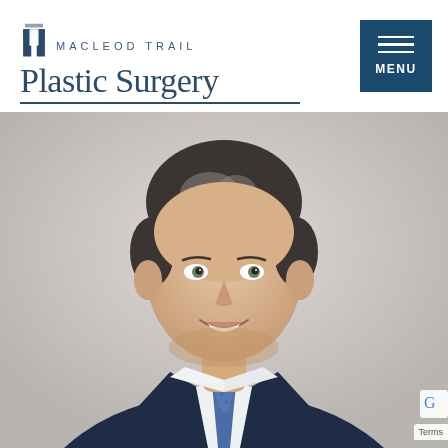[Figure (logo): Macleod Trail Plastic Surgery logo with stylized M icon, text 'MACLEOD TRAIL' in small caps and 'Plastic Surgery' in large serif font, with underline]
[Figure (other): Menu button - dark blue square with three horizontal white lines and 'MENU' text below]
[Figure (photo): Professional headshot of a middle-aged man with gray-streaked dark hair, wearing a dark navy suit with white shirt and blue patterned tie, smiling, on a light gray background]